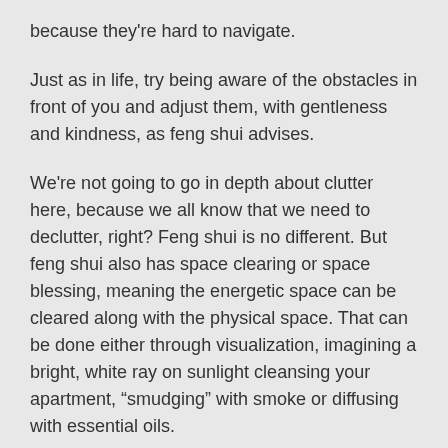because they're hard to navigate.
Just as in life, try being aware of the obstacles in front of you and adjust them, with gentleness and kindness, as feng shui advises.
We're not going to go in depth about clutter here, because we all know that we need to declutter, right? Feng shui is no different. But feng shui also has space clearing or space blessing, meaning the energetic space can be cleared along with the physical space. That can be done either through visualization, imagining a bright, white ray on sunlight cleansing your apartment, “smudging” with smoke or diffusing with essential oils.
Take a deep breath
If you’re not familiar with smudging ⧉, most times, it’s done with sage, and if you’re setting off the fire alarm...